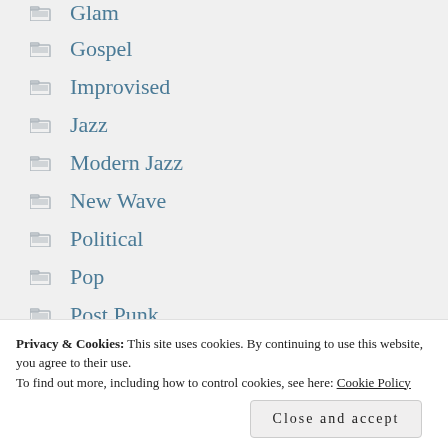Glam
Gospel
Improvised
Jazz
Modern Jazz
New Wave
Political
Pop
Post Punk
Psychedelic
Privacy & Cookies: This site uses cookies. By continuing to use this website, you agree to their use.
To find out more, including how to control cookies, see here: Cookie Policy
Close and accept